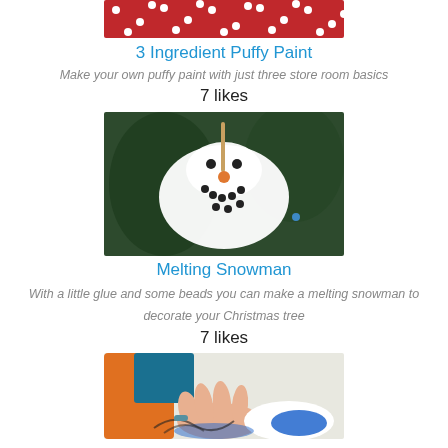[Figure (photo): Red fabric with white polka dots, top portion of image]
3 Ingredient Puffy Paint
Make your own puffy paint with just three store room basics
7 likes
[Figure (photo): Melting snowman ornament made from glue and beads hanging on a Christmas tree]
Melting Snowman
With a little glue and some beads you can make a melting snowman to decorate your Christmas tree
7 likes
[Figure (photo): Child's hands painting with blue paint on a white surface, partial view]